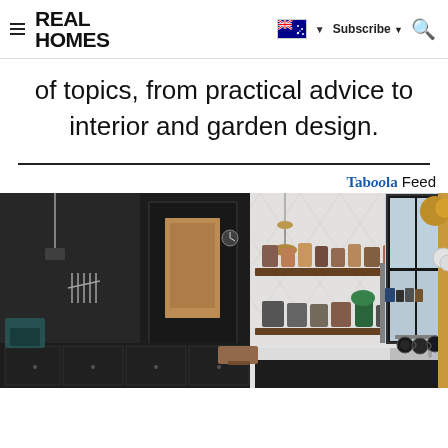Real Homes — Subscribe | Search | Flag
of topics, from practical advice to interior and garden design.
[Figure (screenshot): Kitchen interior photograph showing dark cabinetry, open shelving with jars and spices, marble herringbone backsplash, pendant lights, and hanging mugs near a window.]
Taboola Feed